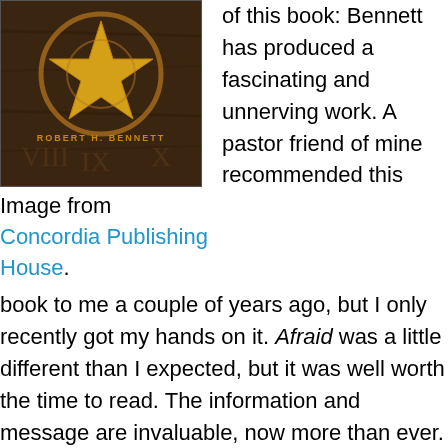[Figure (photo): Book cover image showing a gold pentagram star on a dark wooden background with Roman numerals, authored by Robert H. Bennett]
Image from Concordia Publishing House.
of this book: Bennett has produced a fascinating and unnerving work. A pastor friend of mine recommended this book to me a couple of years ago, but I only recently got my hands on it. Afraid was a little different than I expected, but it was well worth the time to read. The information and message are invaluable, now more than ever. This is not to say that the information is new or it wouldn't have been helpful in days past. But today's America is heading back into pagan spirituality, even among professing Christians, yet the dangers of the spiritual world have been largely